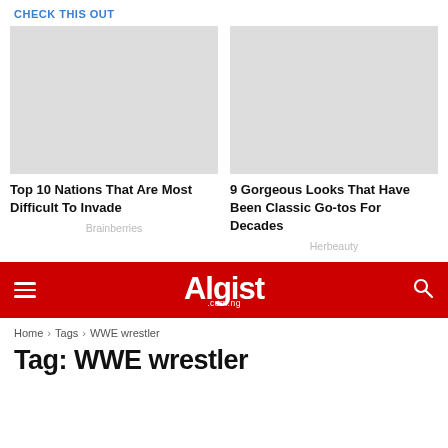CHECK THIS OUT
[Figure (photo): Thumbnail image placeholder for article 1]
Top 10 Nations That Are Most Difficult To Invade
Brainberries
[Figure (photo): Thumbnail image placeholder for article 2]
9 Gorgeous Looks That Have Been Classic Go-tos For Decades
Herbeauty
Algist .com.ng
Home › Tags › WWE wrestler
Tag: WWE wrestler